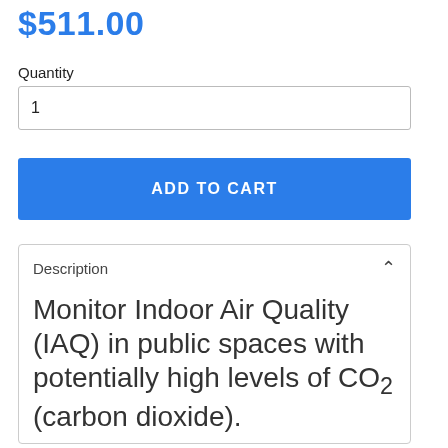$511.00
Quantity
1
ADD TO CART
Description
Monitor Indoor Air Quality (IAQ) in public spaces with potentially high levels of CO₂ (carbon dioxide).
Poor air quality may cause tiredness, inability to